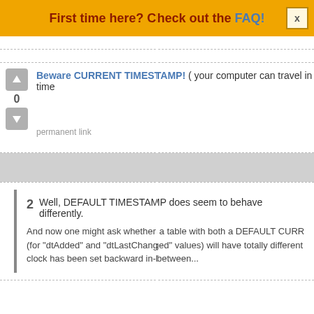First time here? Check out the FAQ!
Beware CURRENT TIMESTAMP! ( your computer can travel in time
0
permanent link
2  Well, DEFAULT TIMESTAMP does seem to behave differently.
And now one might ask whether a table with both a DEFAULT CURR (for "dtAdded" and "dtLastChanged" values) will have totally different clock has been set backward in-between...